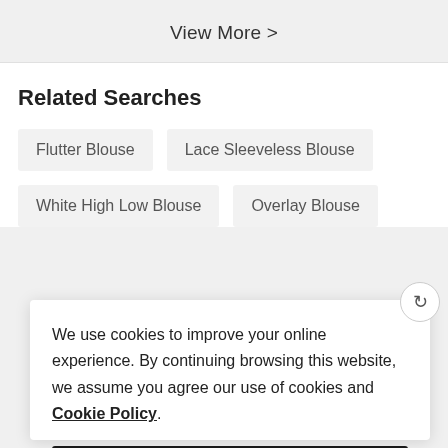View More >
Related Searches
Flutter Blouse
Lace Sleeveless Blouse
White High Low Blouse
Overlay Blouse
We use cookies to improve your online experience. By continuing browsing this website, we assume you agree our use of cookies and Cookie Policy.
Agree